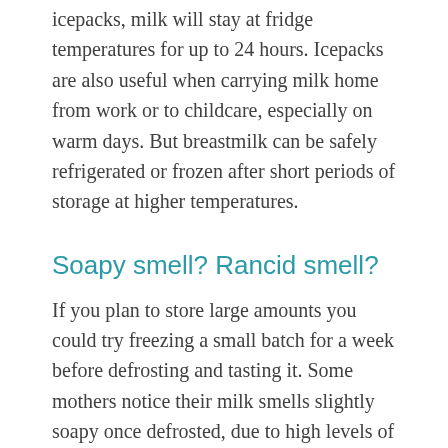icepacks, milk will stay at fridge temperatures for up to 24 hours. Icepacks are also useful when carrying milk home from work or to childcare, especially on warm days. But breastmilk can be safely refrigerated or frozen after short periods of storage at higher temperatures.
Soapy smell? Rancid smell?
If you plan to store large amounts you could try freezing a small batch for a week before defrosting and tasting it. Some mothers notice their milk smells slightly soapy once defrosted, due to high levels of lipase, the enzyme that breaks down fat. The milk is still safe to use but some babies refuse to drink it. Heating milk to a scald (bubbles around the edges,